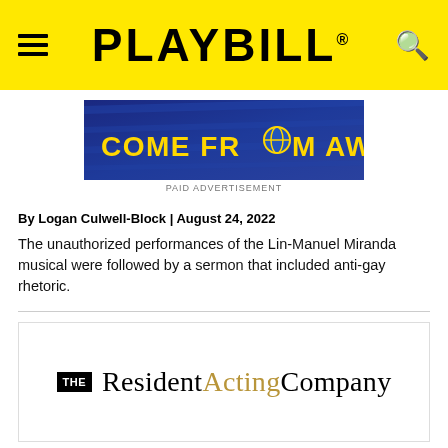PLAYBILL
[Figure (photo): Come From Away musical advertisement banner with yellow text on dark blue background]
PAID ADVERTISEMENT
By Logan Culwell-Block | August 24, 2022
The unauthorized performances of the Lin-Manuel Miranda musical were followed by a sermon that included anti-gay rhetoric.
[Figure (logo): The Resident Acting Company logo — 'THE' in white text on black box followed by 'Resident Acting Company' in serif font with 'Acting' in gold/tan color]